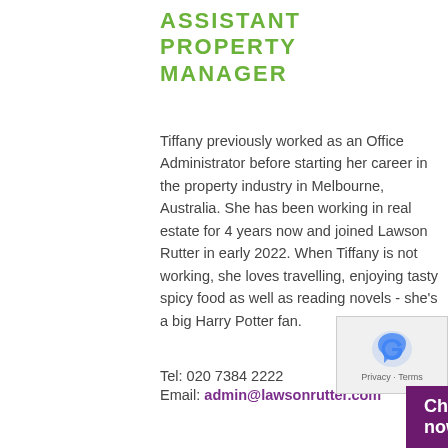ASSISTANT PROPERTY MANAGER
Tiffany previously worked as an Office Administrator before starting her career in the property industry in Melbourne, Australia. She has been working in real estate for 4 years now and joined Lawson Rutter in early 2022. When Tiffany is not working, she loves travelling, enjoying tasty spicy food as well as reading novels - she's a big Harry Potter fan.
Tel: 020 7384 2222
Email: admin@lawsonrutter.com
[Figure (logo): reCAPTCHA logo with privacy and terms links]
Chat now